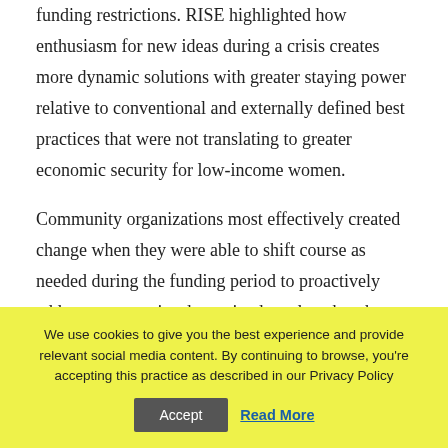funding restrictions. RISE highlighted how enthusiasm for new ideas during a crisis creates more dynamic solutions with greater staying power relative to conventional and externally defined best practices that were not translating to greater economic security for low-income women.
Community organizations most effectively created change when they were able to shift course as needed during the funding period to proactively address community-determined needs rather than well-intentioned funders directing from the sidelines.
We use cookies to give you the best experience and provide relevant social media content. By continuing to browse, you're accepting this practice as described in our Privacy Policy